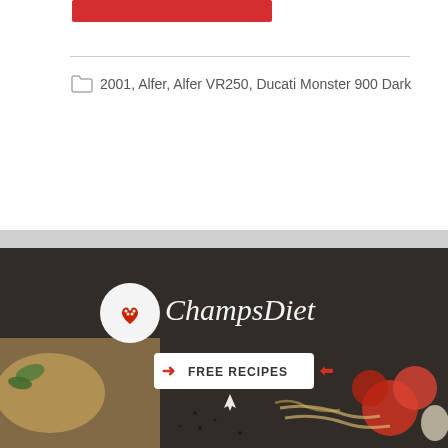[Figure (other): Red button/banner at top of page card]
2001, Alfer, Alfer VR250, Ducati Monster 900 Dark
[Figure (photo): Black cruiser motorcycle on white background, side profile view]
[Figure (photo): ChampsDiet advertisement banner with food items, logo, and FREE RECIPES call to action]